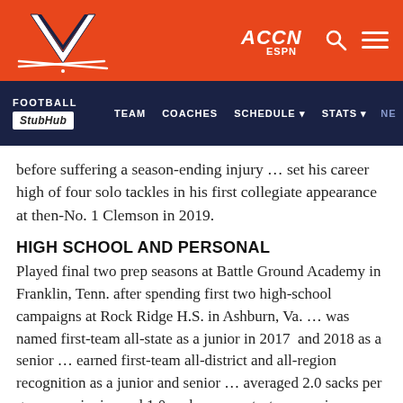[Figure (logo): University of Virginia Cavaliers athletic logo (interlocking V with crossed sabers) on orange header bar, with ACCN ESPN logo, search icon, and hamburger menu icon on the right]
FOOTBALL  TEAM  COACHES  SCHEDULE  STATS  NE  StubHub
before suffering a season-ending injury … set his career high of four solo tackles in his first collegiate appearance at then-No. 1 Clemson in 2019.
HIGH SCHOOL AND PERSONAL
Played final two prep seasons at Battle Ground Academy in Franklin, Tenn. after spending first two high-school campaigns at Rock Ridge H.S. in Ashburn, Va. … was named first-team all-state as a junior in 2017  and 2018 as a senior … earned first-team all-district and all-region recognition as a junior and senior … averaged 2.0 sacks per game as a junior and 1.0 sacks per contest as a senior … helped Battle Ground to a 10-2 record as a